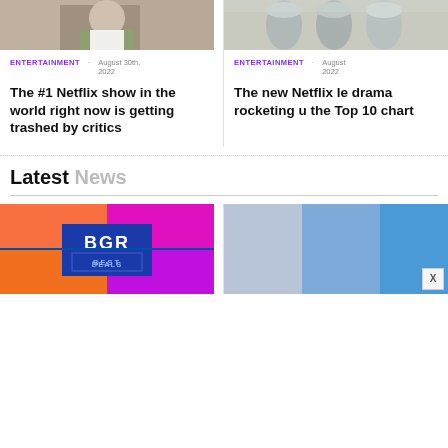[Figure (photo): Top portion of a person in a white shirt and green jacket, outdoors]
[Figure (photo): Metallic cylinders or cups on a light surface, partial view]
ENTERTAINMENT · August 30th, 2022
ENTERTAINMENT · August 2022
The #1 Netflix show in the world right now is getting trashed by critics
The new Netflix le drama rocketing u the Top 10 chart
Latest News
[Figure (logo): BGR Best Deals logo on colorful pink/orange/purple grid background]
[Figure (photo): Blue gradient image panels, partial view with close button X]